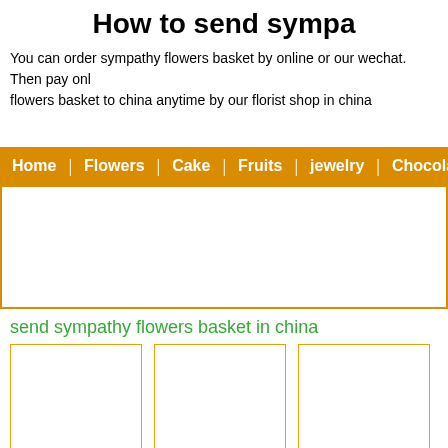How to send sympathy flowers basket to china
You can order sympathy flowers basket by online or our wechat. Then pay online, we will send sympathy flowers basket to china anytime by our florist shop in china
Home | Flowers | Cake | Fruits | jewelry | Chocolate |
send sympathy flowers basket in china
[Figure (other): Three product image boxes with orange borders, empty/white content areas]